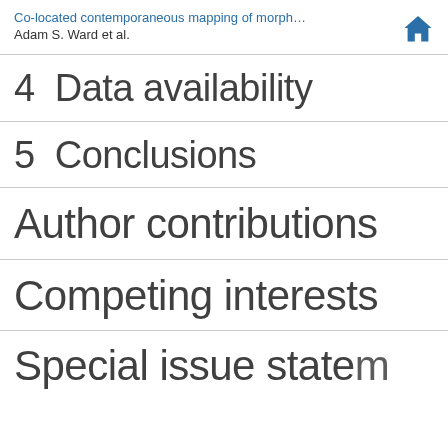Co-located contemporaneous mapping of morph... Adam S. Ward et al.
4  Data availability
5  Conclusions
Author contributions
Competing interests
Special issue statement